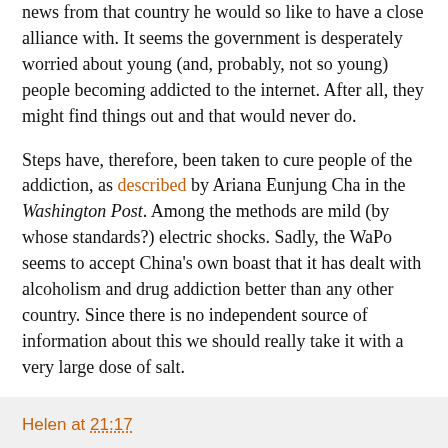news from that country he would so like to have a close alliance with. It seems the government is desperately worried about young (and, probably, not so young) people becoming addicted to the internet. After all, they might find things out and that would never do.
Steps have, therefore, been taken to cure people of the addiction, as described by Ariana Eunjung Cha in the Washington Post. Among the methods are mild (by whose standards?) electric shocks. Sadly, the WaPo seems to accept China's own boast that it has dealt with alcoholism and drug addiction better than any other country. Since there is no independent source of information about this we should really take it with a very large dose of salt.
Any point in sending this to Master Hague? Somehow I do not think so.
COMMENT THREAD
Helen at 21:17